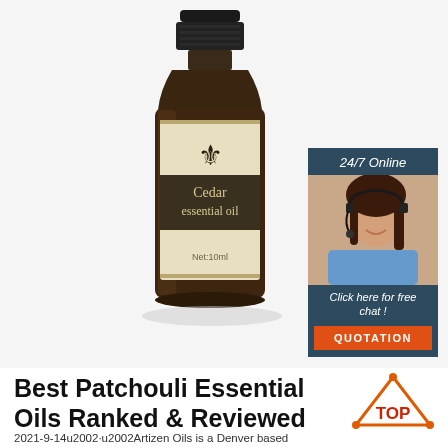[Figure (photo): Amber glass bottle of Cedar essential oil, 10ml, with cream/gold label featuring a fleur-de-lis and dark band with product name]
[Figure (infographic): 24/7 Online chat widget with photo of smiling woman with headset, dark blue background, 'Click here for free chat!' text, and orange QUOTATION button]
Best Patchouli Essential Oils Ranked & Reviewed
[Figure (logo): TOP logo - orange triangle outline with dots at corners, red TOP text]
2021-9-14u2002·u2002Artizen Oils is a Denver based